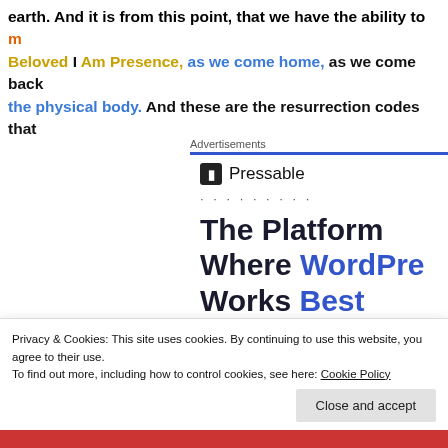earth. And it is from this point, that we have the ability to m... Beloved I Am Presence, as we come home, as we come back the physical body. And these are the resurrection codes that
Advertisements
[Figure (other): Pressable advertisement showing logo and headline 'The Platform Where WordPress Works Best']
Privacy & Cookies: This site uses cookies. By continuing to use this website, you agree to their use.
To find out more, including how to control cookies, see here: Cookie Policy
Close and accept